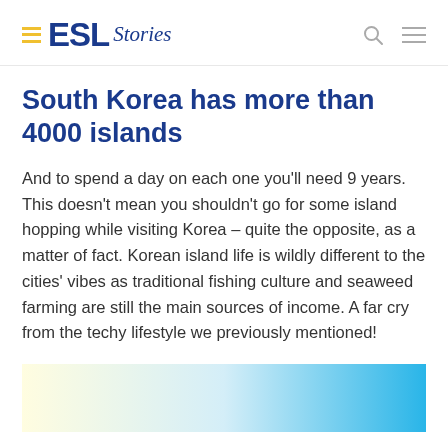ESL Stories
South Korea has more than 4000 islands
And to spend a day on each one you’ll need 9 years. This doesn’t mean you shouldn’t go for some island hopping while visiting Korea – quite the opposite, as a matter of fact. Korean island life is wildly different to the cities’ vibes as traditional fishing culture and seaweed farming are still the main sources of income. A far cry from the techy lifestyle we previously mentioned!
[Figure (illustration): Gradient image transitioning from pale yellow on the left to sky blue on the right, partially visible at the bottom of the page.]